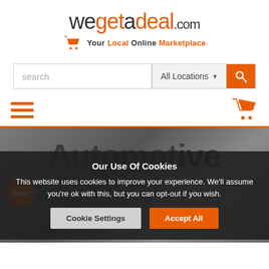[Figure (logo): wegetadeal.com logo with shopping cart icon and tagline 'Your Local Online Marketplace']
[Figure (screenshot): Search bar with text input placeholder 'search', All Locations dropdown, and orange search button with magnifying glass icon]
[Figure (screenshot): Navigation bar with orange hamburger menu icon on left and orange shopping cart icon on right, separated by orange bottom border]
[Figure (screenshot): Hero banner with 'Automotive' text and a sale badge, overlaid with a cookie consent dialog]
Our Use Of Cookies
This website uses cookies to improve your experience. We'll assume you're ok with this, but you can opt-out if you wish.
Cookie Settings
Accept All